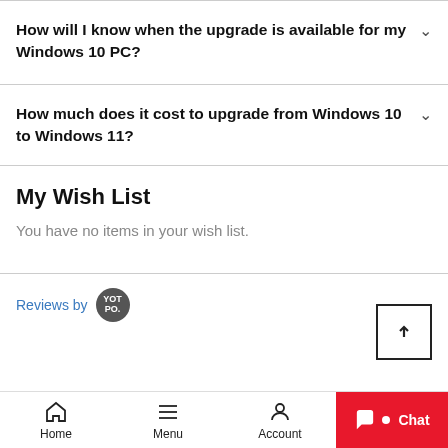How will I know when the upgrade is available for my Windows 10 PC?
How much does it cost to upgrade from Windows 10 to Windows 11?
My Wish List
You have no items in your wish list.
Reviews by [YOTPO logo]
Home  Menu  Account  Chat